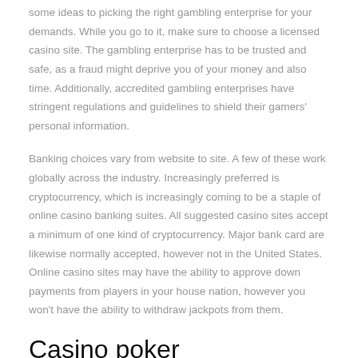some ideas to picking the right gambling enterprise for your demands. While you go to it, make sure to choose a licensed casino site. The gambling enterprise has to be trusted and safe, as a fraud might deprive you of your money and also time. Additionally, accredited gambling enterprises have stringent regulations and guidelines to shield their gamers' personal information.
Banking choices vary from website to site. A few of these work globally across the industry. Increasingly preferred is cryptocurrency, which is increasingly coming to be a staple of online casino banking suites. All suggested casino sites accept a minimum of one kind of cryptocurrency. Major bank card are likewise normally accepted, however not in the United States. Online casino sites may have the ability to approve down payments from players in your house nation, however you won't have the ability to withdraw jackpots from them.
Casino poker